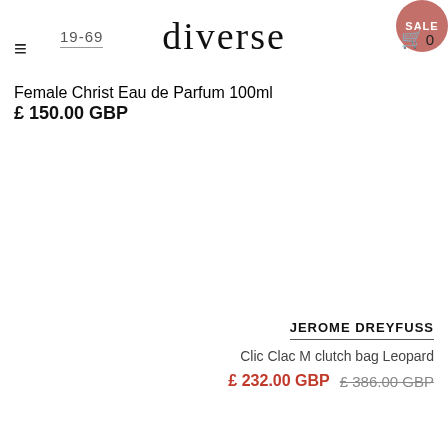diverse
19-69
SALE
0
Female Christ Eau de Parfum 100ml
£ 150.00 GBP
JEROME DREYFUSS
Clic Clac M clutch bag Leopard
£ 232.00 GBP  £ 386.00 GBP